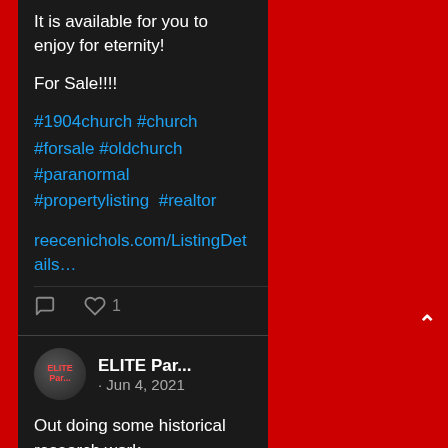It is available for you to enjoy for eternity!
For Sale!!!!
#1904church #church #forsale #oldchurch #paranormal #propertylisting  #realtor
reecenichols.com/ListingDetails…
[Figure (screenshot): Tweet interaction icons: comment bubble and heart with count 1]
ELITE Par... · Jun 4, 2021
Out doing some historical research work.
#historical #history